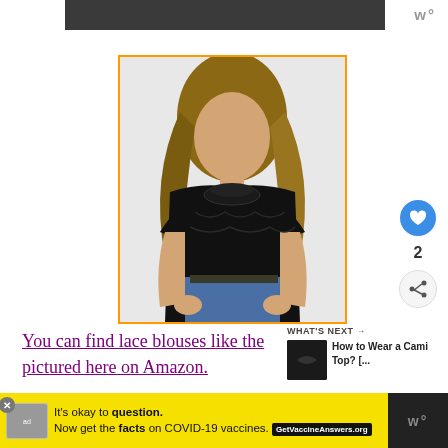[Figure (photo): Top navigation bar with dark header strip and logo]
[Figure (photo): Woman wearing black lace blouse with mock neck and short flutter sleeves, paired with blue jeans, shown from shoulders to hips against white background]
You can find lace blouses like the pictured here on Amazon.
WHAT'S NEXT → How to Wear a Cami Top? [...]
[Figure (photo): Advertisement banner: It's okay to question. Now get the facts on COVID-19 vaccines. GetVaccineAnswers.org]